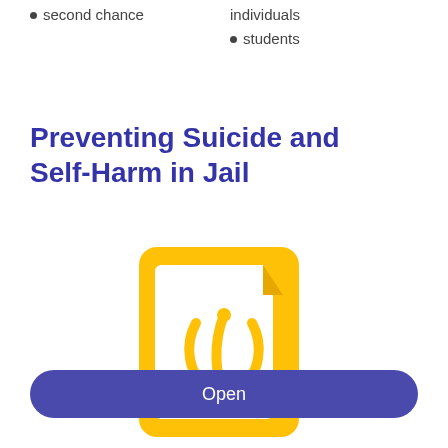second chance
individuals
students
Preventing Suicide and Self-Harm in Jail
[Figure (illustration): Yellow PDF file icon with Adobe Acrobat logo symbol in the center]
Open